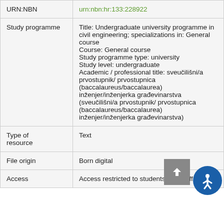| Field | Value |
| --- | --- |
| URN:NBN | urn:nbn:hr:133:228922 |
| Study programme | Title: Undergraduate university programme in civil engineering; specializations in: General course
Course: General course
Study programme type: university
Study level: undergraduate
Academic / professional title: sveučilišni/a prvostupnik/ prvostupnica (baccalaureus/baccalaurea) inženjer/inženjerka građevinarstva (sveučilišni/a prvostupnik/ prvostupnica (baccalaureus/baccalaurea) inženjer/inženjerka građevinarstva) |
| Type of resource | Text |
| File origin | Born digital |
| Access | Access restricted to students and staff of |